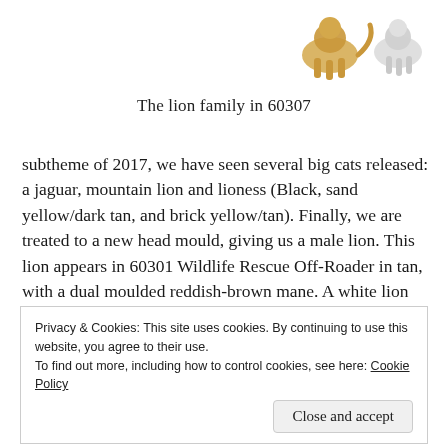[Figure (photo): Partial photo of lion figurines in gold and silver/white colors visible at the top of the page, cropped at the bottom]
The lion family in 60307
subtheme of 2017, we have seen several big cats released: a jaguar, mountain lion and lioness (Black, sand yellow/dark tan, and brick yellow/tan). Finally, we are treated to a new head mould, giving us a male lion. This lion appears in 60301 Wildlife Rescue Off-Roader in tan, with a dual moulded reddish-brown mane. A white lion with a tan mane
Privacy & Cookies: This site uses cookies. By continuing to use this website, you agree to their use.
To find out more, including how to control cookies, see here: Cookie Policy
Close and accept